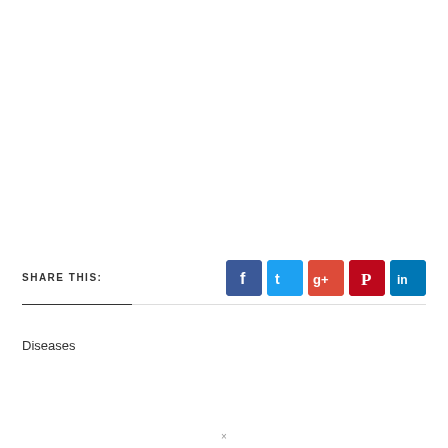SHARE THIS:
[Figure (other): Social share buttons: Facebook (blue), Twitter (light blue), Google+ (red-orange), Pinterest (dark red), LinkedIn (blue)]
Diseases